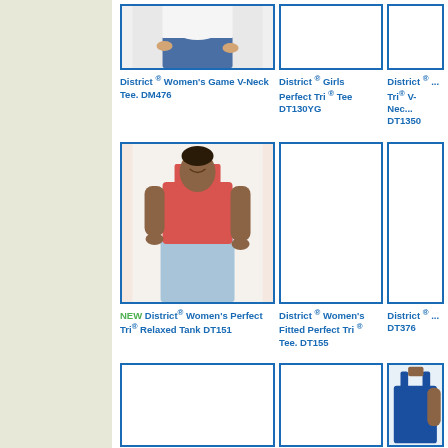[Figure (photo): Partial view of women's tee, cropped at top]
[Figure (photo): Empty product image placeholder]
[Figure (photo): Empty product image placeholder, partially visible]
District® Women's Game V-Neck Tee. DM476
District® Girls Perfect Tri® Tee DT130YG
District® ... Tri® V-Neck DT1350
[Figure (photo): Woman wearing coral/red tank top - District Women's Perfect Tri Relaxed Tank DT151]
[Figure (photo): Empty product image placeholder]
[Figure (photo): Empty product image placeholder, partially visible]
NEW District® Women's Perfect Tri® Relaxed Tank DT151
District® Women's Fitted Perfect Tri® Tee. DT155
District® ... DT376
[Figure (photo): Empty product image placeholder]
[Figure (photo): Empty product image placeholder]
[Figure (photo): Woman wearing blue tank top, partially visible]